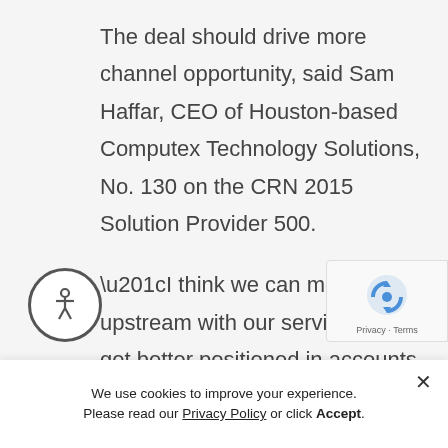The deal should drive more channel opportunity, said Sam Haffar, CEO of Houston-based Computex Technology Solutions, No. 130 on the CRN 2015 Solution Provider 500.
“I think we can move upstream with our services and get better positioned in accounts, since we no longer will be competing with HPE services,” Haffar said. “Computex has very high-end services and…
We use cookies to improve your experience. Please read our Privacy Policy or click Accept.